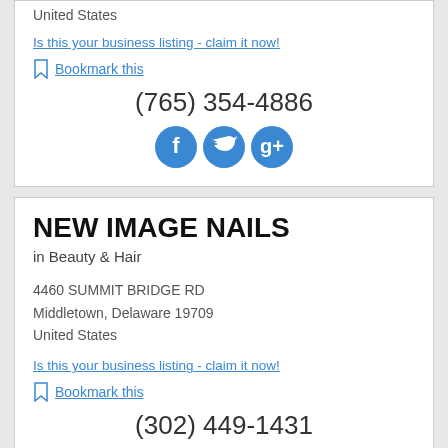United States
Is this your business listing - claim it now!
Bookmark this
(765) 354-4886
[Figure (other): Social media icons: Facebook, Twitter, Google+]
NEW IMAGE NAILS
in Beauty & Hair
4460 SUMMIT BRIDGE RD
Middletown, Delaware 19709
United States
Is this your business listing - claim it now!
Bookmark this
(302) 449-1431
[Figure (other): Social media icons: Facebook, Twitter, Google+ (partially visible)]